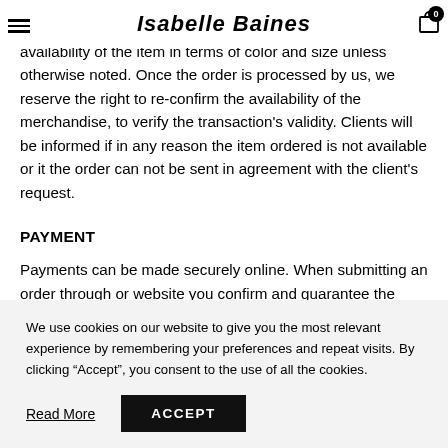Isabelle Baines
The items displayed and the website reflect the actual availability of the item in terms of color and size unless otherwise noted. Once the order is processed by us, we reserve the right to re-confirm the availability of the merchandise, to verify the transaction's validity. Clients will be informed if in any reason the item ordered is not available or it the order can not be sent in agreement with the client's request.
PAYMENT
Payments can be made securely online. When submitting an order through or website you confirm and guarantee the
We use cookies on our website to give you the most relevant experience by remembering your preferences and repeat visits. By clicking “Accept”, you consent to the use of all the cookies.
Read More
ACCEPT